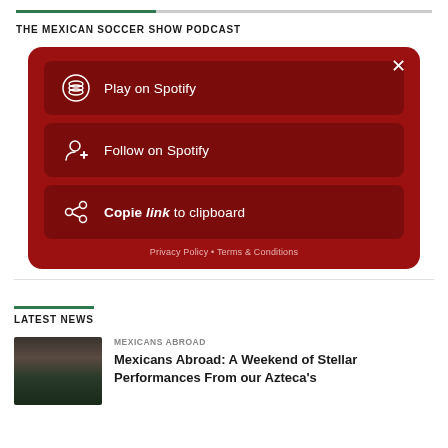THE MEXICAN SOCCER SHOW PODCAST
[Figure (screenshot): Spotify share menu card with dark red background showing three buttons: Play on Spotify, Follow on Spotify, Copy link to clipboard, and a close (X) button, with Privacy Policy and Terms & Conditions link at bottom]
LATEST NEWS
MEXICANS ABROAD
Mexicans Abroad: A Weekend of Stellar Performances From our Azteca's